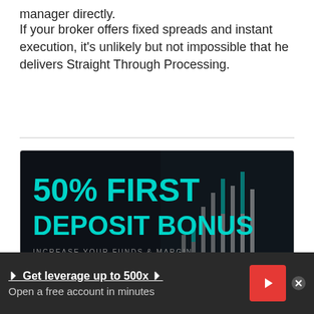manager directly.
If your broker offers fixed spreads and instant execution, it's unlikely but not impossible that he delivers Straight Through Processing.
[Figure (infographic): 4XC broker advertisement banner: '50% FIRST DEPOSIT BONUS — INCREASE YOUR FUNDS & MARGIN' with a 'Claim Your Bonus' button and 4XC logo on dark background with candlestick chart imagery.]
Related articles
🞂 Get leverage up to 500x 🞂
Open a free account in minutes